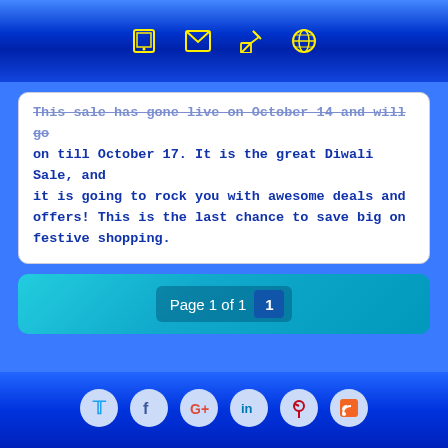[Navigation icons: tablet, mail, edit, globe]
This sale has gone live on October 14 and will go on till October 17. It is the great Diwali Sale, and it is going to rock you with awesome deals and offers! This is the last chance to save big on festive shopping.
Page 1 of 1  1
To search, type and hit enter
Select Month
Social Profile
Social media icons: Twitter, Facebook, Google+, LinkedIn, Pinterest, RSS